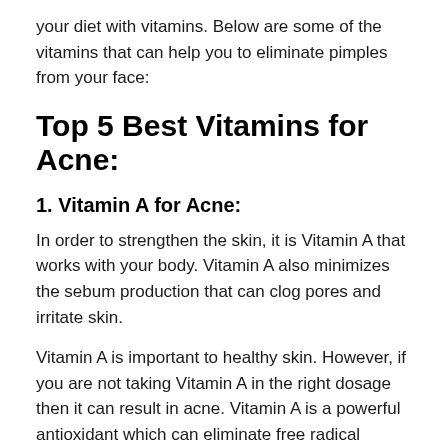your diet with vitamins. Below are some of the vitamins that can help you to eliminate pimples from your face:
Top 5 Best Vitamins for Acne:
1. Vitamin A for Acne:
In order to strengthen the skin, it is Vitamin A that works with your body. Vitamin A also minimizes the sebum production that can clog pores and irritate skin.
Vitamin A is important to healthy skin. However, if you are not taking Vitamin A in the right dosage then it can result in acne. Vitamin A is a powerful antioxidant which can eliminate free radical damage.
Top food sources of VITAMIN A include: